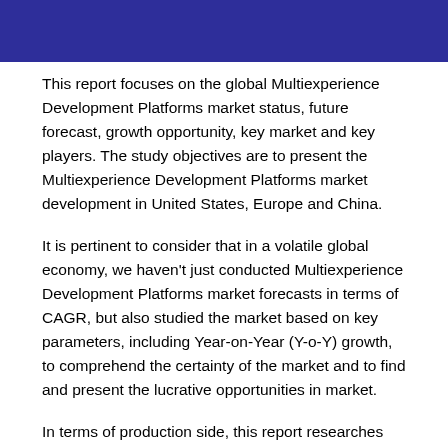This report focuses on the global Multiexperience Development Platforms market status, future forecast, growth opportunity, key market and key players. The study objectives are to present the Multiexperience Development Platforms market development in United States, Europe and China.
It is pertinent to consider that in a volatile global economy, we haven't just conducted Multiexperience Development Platforms market forecasts in terms of CAGR, but also studied the market based on key parameters, including Year-on-Year (Y-o-Y) growth, to comprehend the certainty of the market and to find and present the lucrative opportunities in market.
In terms of production side, this report researches the Multiexperience Development Platforms capacity, production, value, ex-factory price, growth rate, market share for major manufacturers, regions (or countries) and